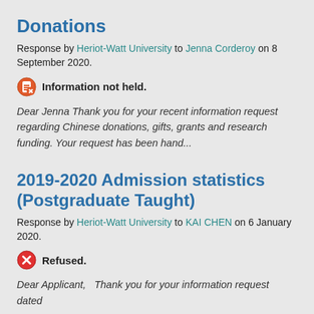Donations
Response by Heriot-Watt University to Jenna Corderoy on 8 September 2020.
Information not held.
Dear Jenna Thank you for your recent information request regarding Chinese donations, gifts, grants and research funding. Your request has been hand...
2019-2020 Admission statistics (Postgraduate Taught)
Response by Heriot-Watt University to KAI CHEN on 6 January 2020.
Refused.
Dear Applicant,   Thank you for your information request dated